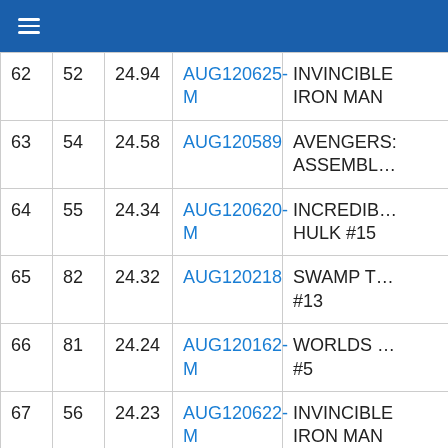≡
|  |  |  |  |  |
| --- | --- | --- | --- | --- |
| 62 | 52 | 24.94 | AUG120625-M | INVINCIBLE IRON MAN |
| 63 | 54 | 24.58 | AUG120589 | AVENGERS ASSEMBLE |
| 64 | 55 | 24.34 | AUG120620-M | INCREDIBLE HULK #15 |
| 65 | 82 | 24.32 | AUG120218 | SWAMP THING #13 |
| 66 | 81 | 24.24 | AUG120162-M | WORLDS FINEST #5 |
| 67 | 56 | 24.23 | AUG120622-M | INVINCIBLE IRON MAN |
|  |  |  |  | RED HOOD |